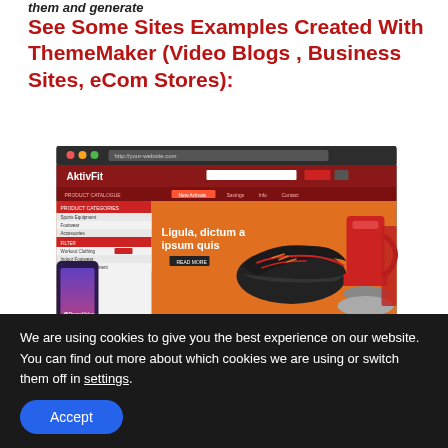them and generate
See Some Sites Examples Created With ThemeMaker (Video Blogs , Business Sites, eCom Stores):
[Figure (screenshot): Screenshot of an eCommerce website called AktivFit shown in a browser mockup with a phone overlay on the left. The site has a dark red header, orange hero section with text 'Ligula, dictum a ipsum quis', athletic shoes, and a sidebar with product categories.]
We are using cookies to give you the best experience on our website.
You can find out more about which cookies we are using or switch them off in settings.
Accept